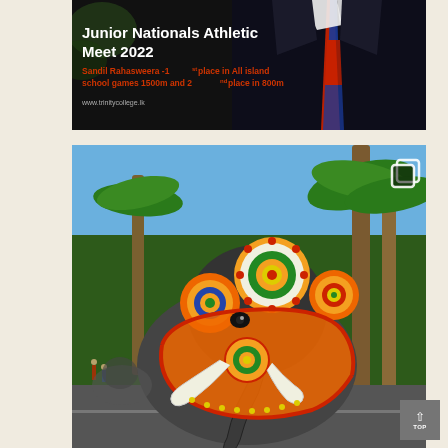[Figure (photo): Dark promotional banner for Junior Nationals Athletic Meet 2022, showing a person in a dark suit with striped tie, with bold white title text and red subtitle text, and website URL at bottom.]
Junior Nationals Athletic Meet 2022
Sandil Rahasweera -1st place in All island school games 1500m and 2nd place in 800m
www.trinitycollege.lk
[Figure (photo): Photograph of a decorated ceremonial elephant with colorful ornate decorations featuring circular patterns in orange, red, green, blue and gold. Palm trees visible in background, with a copy/gallery icon in upper right corner.]